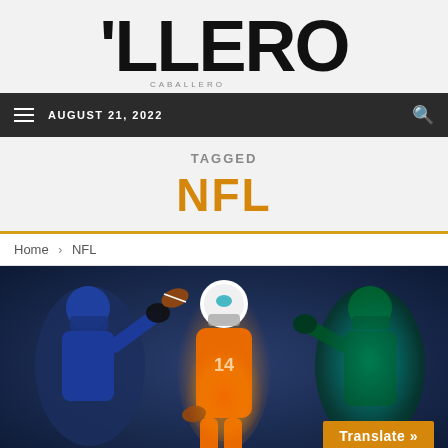'LLERO
AUGUST 21, 2022
TAGGED
NFL
Home > NFL
[Figure (illustration): NFL football players illustration showing three players in action: a player in blue on the left reaching for a ball, a Miami Dolphins player in orange uniform in the center with flame effects, and a player in teal/green on the right with neon effects.]
Translate »